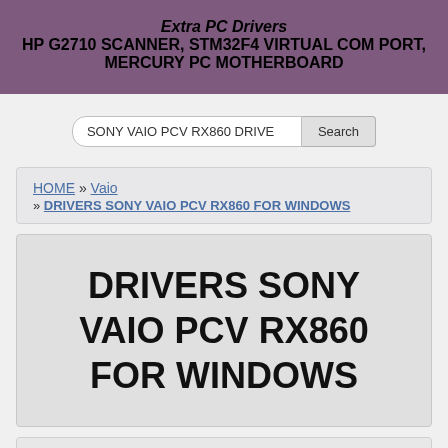Extra PC Drivers
HP G2710 SCANNER, STM32F4 VIRTUAL COM PORT, MERCURY PC MOTHERBOARD
[Figure (screenshot): Search box with text 'SONY VAIO PCV RX860 DRIVE' and a Search button]
HOME » Vaio » DRIVERS SONY VAIO PCV RX860 FOR WINDOWS
DRIVERS SONY VAIO PCV RX860 FOR WINDOWS
User: PETE RINCON > VAIO > 09 Aug, 2022